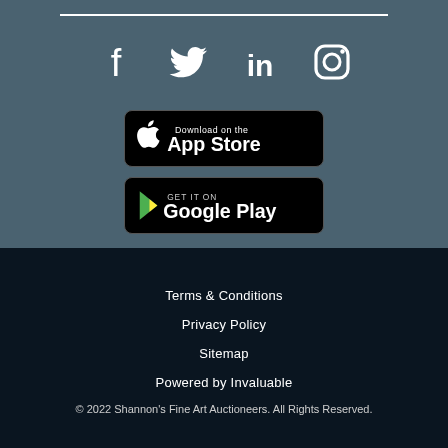[Figure (infographic): Social media icons: Facebook, Twitter, LinkedIn, Instagram in white on teal-gray background]
[Figure (infographic): Download on the App Store button (black rounded rectangle)]
[Figure (infographic): GET IT ON Google Play button (black rounded rectangle)]
Terms & Conditions
Privacy Policy
Sitemap
Powered by Invaluable
© 2022 Shannon's Fine Art Auctioneers. All Rights Reserved.